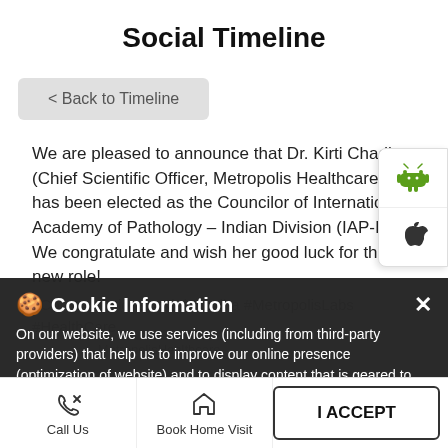Social Timeline
< Back to Timeline
We are pleased to announce that Dr. Kirti Chadha (Chief Scientific Officer, Metropolis Healthcare) has been elected as the Councilor of International Academy of Pathology – Indian Division (IAP-ID). We congratulate and wish her good luck for this new role! #CongratulationsDrKirtiChadha #MetropolisLabs #HealthCare
Cookie Information
On our website, we use services (including from third-party providers) that help us to improve our online presence (optimization of website) and to display content that is geared to their interests. We need your consent before being able to use these services.
I ACCEPT
Call Us | Book Home Visit | Directions